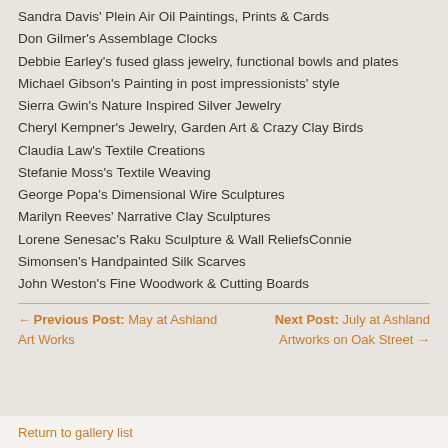Sandra Davis' Plein Air Oil Paintings, Prints & Cards
Don Gilmer's Assemblage Clocks
Debbie Earley's fused glass jewelry, functional bowls and plates
Michael Gibson's Painting in post impressionists' style
Sierra Gwin's Nature Inspired Silver Jewelry
Cheryl Kempner's Jewelry, Garden Art & Crazy Clay Birds
Claudia Law's Textile Creations
Stefanie Moss's Textile Weaving
George Popa's Dimensional Wire Sculptures
Marilyn Reeves' Narrative Clay Sculptures
Lorene Senesac's Raku Sculpture & Wall ReliefsConnie Simonsen's Handpainted Silk Scarves
John Weston's Fine Woodwork & Cutting Boards
← Previous Post: May at Ashland Art Works    Next Post: July at Ashland Artworks on Oak Street →
Return to gallery list